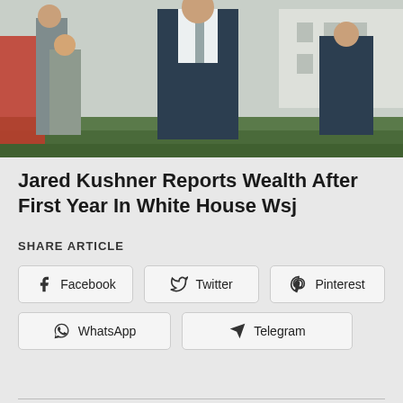[Figure (photo): Outdoor photo of Jared Kushner in a dark suit walking outside the White House with other people in the background]
Jared Kushner Reports Wealth After First Year In White House Wsj
SHARE ARTICLE
Facebook
Twitter
Pinterest
WhatsApp
Telegram